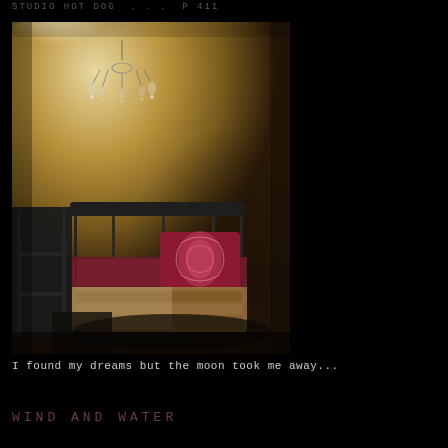STUDIO HOT DOG . . . P 411
[Figure (photo): A dimly lit room with an iron bed frame, red/pink patterned pillow, patterned quilt, a chandelier hanging from the ceiling, warm brownish-yellow textured walls, moody atmospheric lighting]
I found my dreams but the moon took me away...
WIND AND WATER